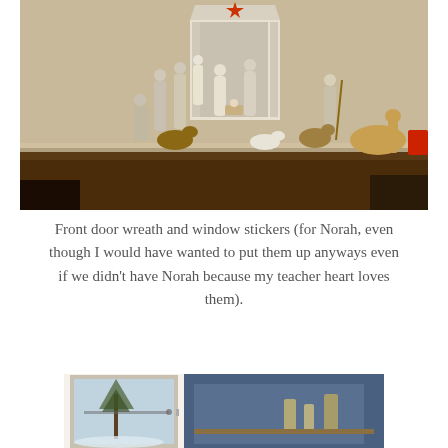[Figure (photo): Nativity scene with figurines of the holy family, wise men, shepherds, and animals arranged on a wooden table, with a stable structure in the center topped by a star.]
Front door wreath and window stickers (for Norah, even though I would have wanted to put them up anyways even if we didn't have Norah because my teacher heart loves them).
[Figure (photo): Interior view of a front door area with a glass panel door showing a winter scene outside, and a blue wall visible to the right.]